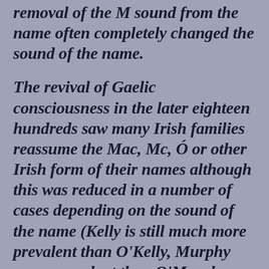removal of the M sound from the name often completely changed the sound of the name.
The revival of Gaelic consciousness in the later eighteen hundreds saw many Irish families reassume the Mac, Mc, Ó or other Irish form of their names although this was reduced in a number of cases depending on the sound of the name (Kelly is still much more prevalent than O'Kelly, Murphy more prevalent than O'Murphy, etc.)